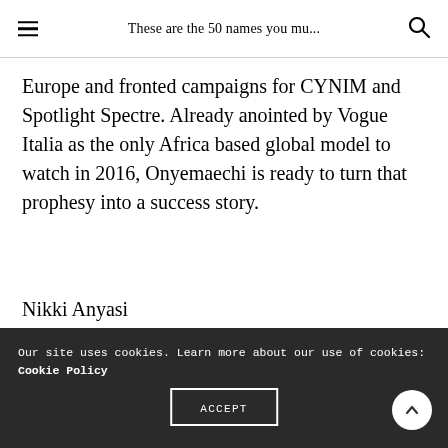These are the 50 names you mu...
Europe and fronted campaigns for CYNIM and Spotlight Spectre. Already anointed by Vogue Italia as the only Africa based global model to watch in 2016, Onyemaechi is ready to turn that prophesy into a success story.
Nikki Anyasi
Our site uses cookies. Learn more about our use of cookies: Cookie Policy